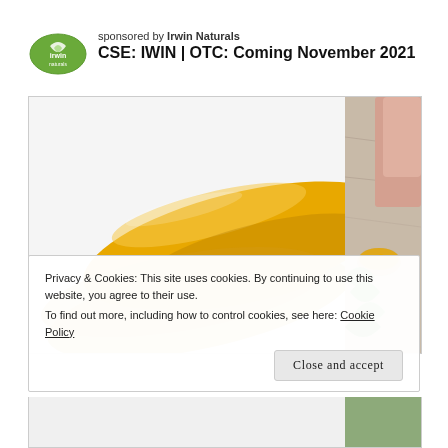sponsored by Irwin Naturals
CSE: IWIN | OTC: Coming November 2021
[Figure (photo): Close-up photo of golden gel capsules (supplements) on a white background, with a side panel showing a hand and plants with capsules in a bowl]
Privacy & Cookies: This site uses cookies. By continuing to use this website, you agree to their use.
To find out more, including how to control cookies, see here: Cookie Policy
Close and accept